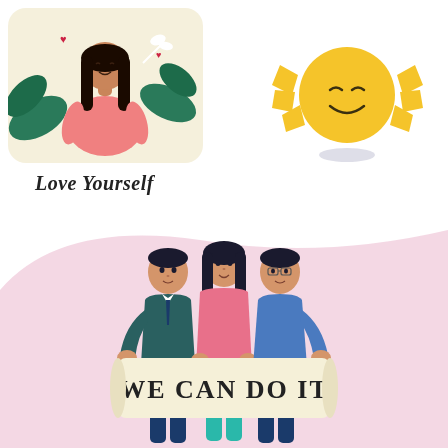[Figure (illustration): Illustration of a young woman with long dark hair, wearing a pink outfit, surrounded by green leaves and plants on a light yellow background, with small red hearts. Self-love / wellness theme.]
[Figure (illustration): Illustration of a smiling cartoon sun face with yellow rays/spikes on both sides, with a small shadow underneath. Cheerful and positive theme.]
Love Yourself
[Figure (illustration): Illustration of three people (two men in dark teal/blue and one woman in pink) holding a banner sign that reads 'WE CAN DO IT'. Background has a large pink/mauve blob shape on white. Teamwork/empowerment theme.]